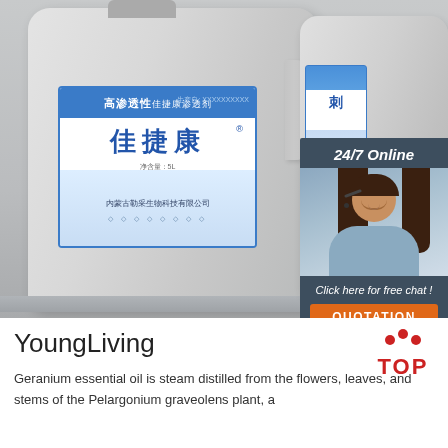[Figure (photo): Two large white/grey plastic jugs with Chinese labels (高渗透性佳捷康 product) and a 24/7 online chat widget overlay in the upper right showing a female customer service representative with headset, '24/7 Online' header, 'Click here for free chat!' tagline, and orange QUOTATION button]
YoungLiving
[Figure (logo): TOP logo with red dots arranged in an arc above the word TOP in red]
Geranium essential oil is steam distilled from the flowers, leaves, and stems of the Pelargonium graveolens plant, a